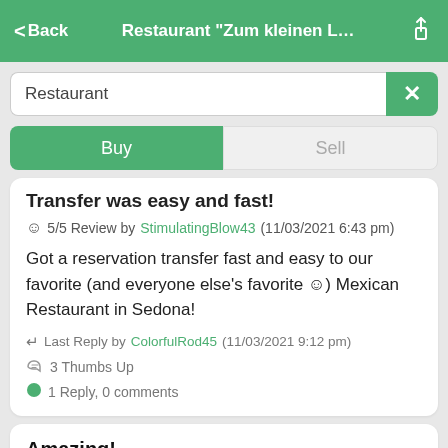< Back   Restaurant "Zum kleinen L...   [share]
Restaurant
Buy | Sell
Transfer was easy and fast!
☺ 5/5 Review by StimulatingBlow43 (11/03/2021 6:43 pm)
Got a reservation transfer fast and easy to our favorite (and everyone else's favorite ☺) Mexican Restaurant in Sedona!
↩ Last Reply by ColorfulRod45 (11/03/2021 9:12 pm)
3 Thumbs Up
1 Reply, 0 comments
Amazing!